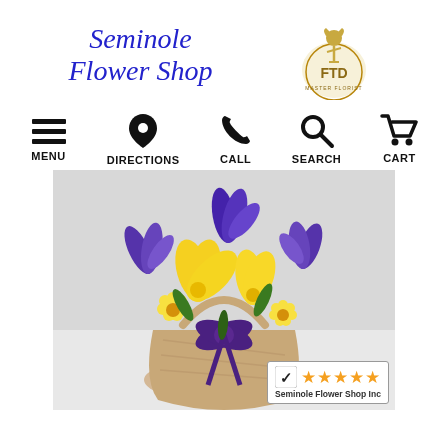[Figure (logo): Seminole Flower Shop logo in blue italic script text]
[Figure (logo): FTD Master Florist logo with golden Mercury figure]
[Figure (infographic): Navigation bar with icons: hamburger menu (MENU), location pin (DIRECTIONS), phone (CALL), magnifying glass (SEARCH), shopping cart (CART)]
[Figure (photo): Flower basket arrangement with yellow lilies, yellow daisies, and purple irises with a purple ribbon bow]
[Figure (logo): Shopper Approved rating badge showing 5 orange stars and text Seminole Flower Shop Inc]